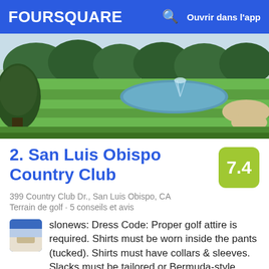FOURSQUARE  Ouvrir dans l'app
[Figure (photo): Aerial view of a golf course fairway with green grass, trees, a water feature with fountain, and sand bunkers]
2. San Luis Obispo Country Club
399 Country Club Dr., San Luis Obispo, CA
Terrain de golf · 5 conseils et avis
slonews: Dress Code: Proper golf attire is required. Shirts must be worn inside the pants (tucked). Shirts must have collars & sleeves. Slacks must be tailored or Bermuda-style shorts. non-metal spike policy.